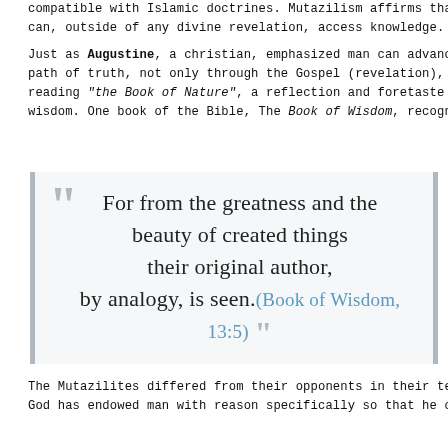compatible with Islamic doctrines. Mutazilism affirms that man can, outside of any divine revelation, access knowledge.
Just as Augustine, a christian, emphasized man can advance on the path of truth, not only through the Gospel (revelation), but by reading "the Book of Nature", a reflection and foretaste of divine wisdom. One book of the Bible, The Book of Wisdom, recognizes that
For from the greatness and the beauty of created things their original author, by analogy, is seen.(Book of Wisdom, 13:5)
The Mutazilites differed from their opponents in their teaching that God has endowed man with reason specifically so that he can come to know the moral order in creation and its Creator; that is what reason is for. Reason is central to man's relationship to God.
In the Fundamentals, the great Mutazilite theologian Abdel al Jabbar Ibn Ahmad (935-1025), whose texts were discovered only in the 1950's by Egyptian scholars in a mosque in Yemen, begins by positing the primary duty to reason: « If it is asked: What is the first duty that God imposes you? Say to him: Speculative reasoning